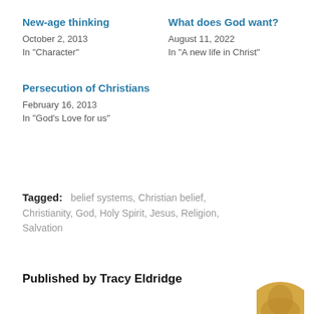New-age thinking
October 2, 2013
In "Character"
What does God want?
August 11, 2022
In "A new life in Christ"
Persecution of Christians
February 16, 2013
In "God's Love for us"
Tagged:   belief systems,  Christian belief,  Christianity,  God,  Holy Spirit,  Jesus,  Religion,  Salvation
Published by Tracy Eldridge